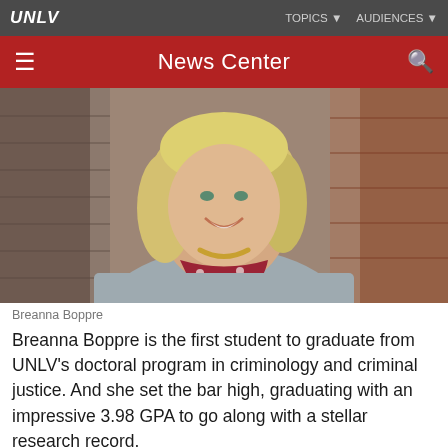UNLV | TOPICS | AUDIENCES
News Center
[Figure (photo): Portrait photo of Breanna Boppre, a blonde woman smiling, wearing a gray cardigan, red polka-dot scarf, and gold necklace, with a blurred brick wall background.]
Breanna Boppre
Breanna Boppre is the first student to graduate from UNLV's doctoral program in criminology and criminal justice. And she set the bar high, graduating with an impressive 3.98 GPA to go along with a stellar research record.